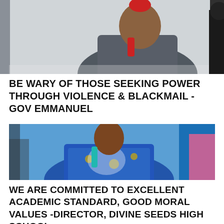[Figure (photo): Man in grey outfit holding a red microphone, speaking at an event. Another person partly visible on the right.]
BE WARY OF THOSE SEEKING POWER THROUGH VIOLENCE & BLACKMAIL - GOV EMMANUEL
[Figure (photo): Woman in blue patterned outfit holding a microphone, other people visible around her.]
WE ARE COMMITTED TO EXCELLENT ACADEMIC STANDARD, GOOD MORAL VALUES -DIRECTOR, DIVINE SEEDS HIGH SCHOOL.
[Figure (photo): Woman in black jacket with Nigerian coat of arms flag visible in the background.]